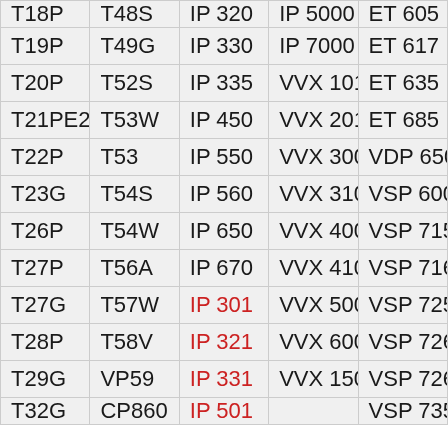| T18P | T48S | IP 320 | IP 5000 | ET 605 |
| T19P | T49G | IP 330 | IP 7000 | ET 617 |
| T20P | T52S | IP 335 | VVX 101 | ET 635 |
| T21PE2 | T53W | IP 450 | VVX 201 | ET 685 |
| T22P | T53 | IP 550 | VVX 300 | VDP 650 |
| T23G | T54S | IP 560 | VVX 310 | VSP 600 |
| T26P | T54W | IP 650 | VVX 400 | VSP 715 |
| T27P | T56A | IP 670 | VVX 410 | VSP 716 |
| T27G | T57W | IP 301 | VVX 500 | VSP 725 |
| T28P | T58V | IP 321 | VVX 600 | VSP 726 |
| T29G | VP59 | IP 331 | VVX 1500 | VSP 726 |
| T32G | CP860 | IP 501 |  | VSP 735 |